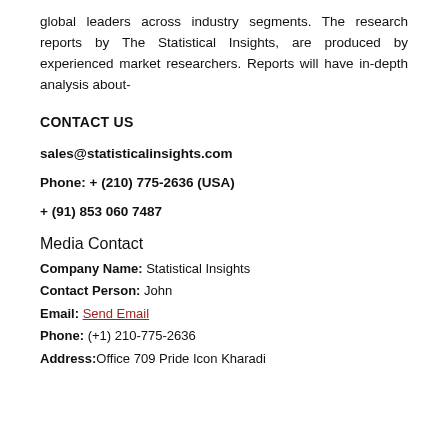global leaders across industry segments. The research reports by The Statistical Insights, are produced by experienced market researchers. Reports will have in-depth analysis about-
CONTACT US
sales@statisticalinsights.com
Phone: + (210) 775-2636 (USA)
+ (91) 853 060 7487
Media Contact
Company Name: Statistical Insights
Contact Person: John
Email: Send Email
Phone: (+1) 210-775-2636
Address: Office 709 Pride Icon Kharadi